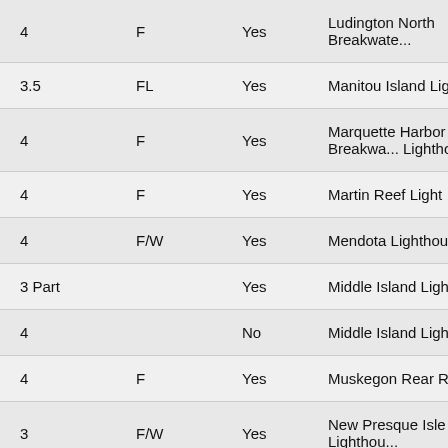|  |  | Yes/No | Name |
| --- | --- | --- | --- |
| 4 | F | Yes | Ludington North Breakwater |
| 3.5 | FL | Yes | Manitou Island Lighthouse |
| 4 | F | Yes | Marquette Harbor Breakwater Lighthouse |
| 4 | F | Yes | Martin Reef Light |
| 4 | F/W | Yes | Mendota Lighthouse |
| 3 Part |  | Yes | Middle Island Lighthouse |
| 4 |  | No | Middle Island Lighthouse |
| 4 | F | Yes | Muskegon Rear Range |
| 3 | F/W | Yes | New Presque Isle Lighthouse |